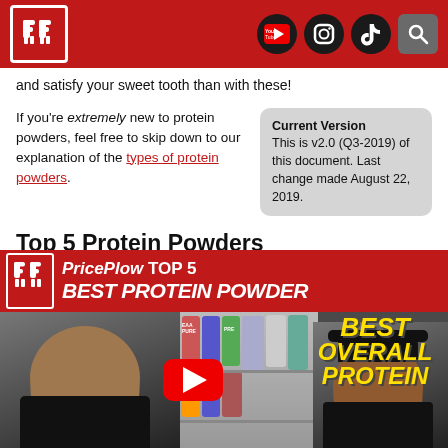PricePlow — header with logo and social icons (YouTube, Instagram, TikTok, Search)
and satisfy your sweet tooth than with these!
If you're extremely new to protein powders, feel free to skip down to our explanation of the types of protein powders.
Current Version
This is v2.0 (Q3-2019) of this document. Last change made August 22, 2019.
Top 5 Protein Powders
Below are our overall Top 5 Protein Powders:
[Figure (screenshot): PricePlow Top 5 Best Protein Powder video thumbnail showing two men, supplement shelves, YouTube play button, and yellow text reading BEST OVERALL PROTEIN]